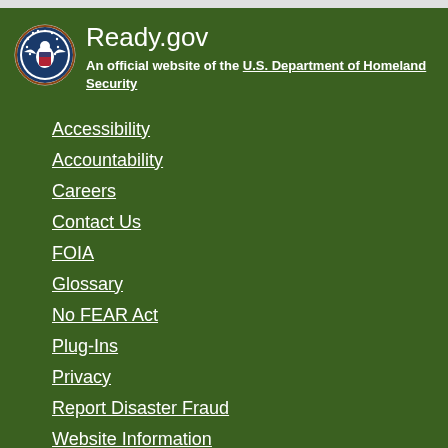Ready.gov
An official website of the U.S. Department of Homeland Security
Accessibility
Accountability
Careers
Contact Us
FOIA
Glossary
No FEAR Act
Plug-Ins
Privacy
Report Disaster Fraud
Website Information